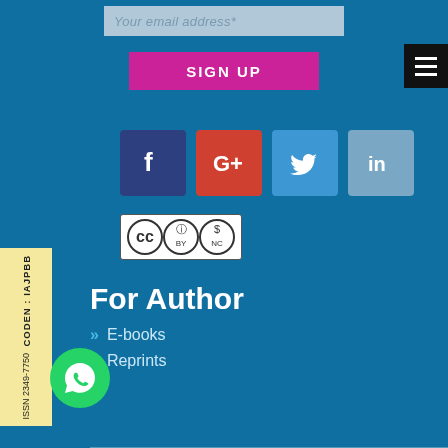Your email address*
SIGN UP
[Figure (infographic): Social media icon buttons: Facebook (dark blue), Google+ (red), Twitter (blue), LinkedIn (light blue)]
[Figure (logo): Creative Commons BY-NC license badge]
For Author
E-books
Reprints
CODEN : IAJPBB
ISSN 2349-7750